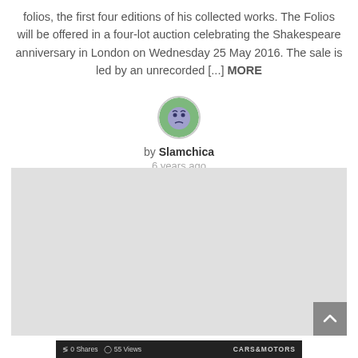folios, the first four editions of his collected works. The Folios will be offered in a four-lot auction celebrating the Shakespeare anniversary in London on Wednesday 25 May 2016. The sale is led by an unrecorded [...] MORE
[Figure (illustration): Circular avatar icon of a cartoon blue/purple face on a green background]
by Slamchica
6 years ago
[Figure (other): Large light gray placeholder box, likely an advertisement or embedded content area]
0 Shares  55 Views  CARS&MOTORS